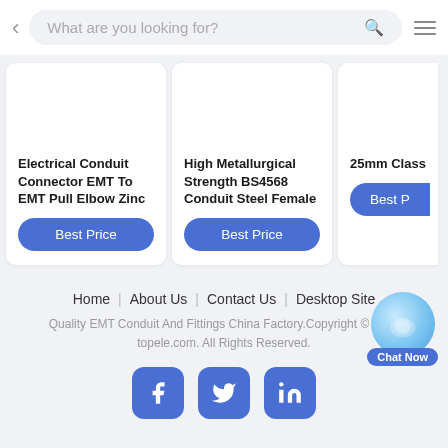What are you looking for?
[Figure (screenshot): Product card: Electrical Conduit Connector EMT To EMT Pull Elbow Zinc with Best Price button]
[Figure (screenshot): Product card: High Metallurgical Strength BS4568 Conduit Steel Female with Best Price button]
[Figure (screenshot): Product card (partial): 25mm Class Galvanized Conduit Pipe with Best Price button (partially visible)]
Home | About Us | Contact Us | Desktop Site
Quality EMT Conduit And Fittings China Factory.Copyright © 2022 topele.com. All Rights Reserved.